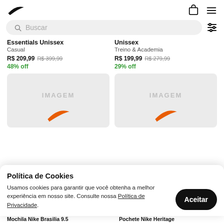[Figure (logo): Nike swoosh logo in top left header]
Buscar
Essentials Unissex
Casual
R$ 209,99 R$ 399,99
48% off
Unissex
Treino & Academia
R$ 199,99 R$ 279,99
29% off
[Figure (photo): Product card placeholder left with IMAGEM text and orange Nike swoosh]
[Figure (photo): Product card placeholder right with IMAGEM text and orange Nike swoosh]
Política de Cookies
Usamos cookies para garantir que você obtenha a melhor experiência em nosso site. Consulte nossa Política de Privacidade.
Mochila Nike Brasilia 9.5
Pochete Nike Heritage